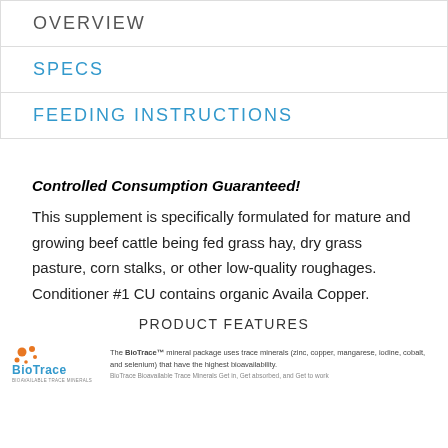OVERVIEW
SPECS
FEEDING INSTRUCTIONS
Controlled Consumption Guaranteed!
This supplement is specifically formulated for mature and growing beef cattle being fed grass hay, dry grass pasture, corn stalks, or other low-quality roughages. Conditioner #1 CU contains organic Availa Copper.
PRODUCT FEATURES
The BioTrace™ mineral package uses trace minerals (zinc, copper, mangarese, iodine, cobalt, and selenium) that have the highest bioavailability. BioTrace Bioavailable Trace Minerals Get in, Get absorbed, and Get to work